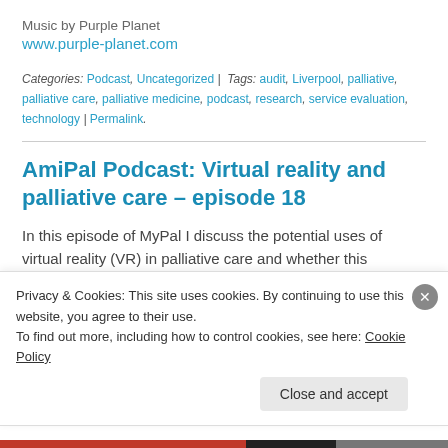Music by Purple Planet
www.purple-planet.com
Categories: Podcast, Uncategorized | Tags: audit, Liverpool, palliative, palliative care, palliative medicine, podcast, research, service evaluation, technology | Permalink.
AmiPal Podcast: Virtual reality and palliative care – episode 18
In this episode of MyPal I discuss the potential uses of virtual reality (VR) in palliative care and whether this…
Privacy & Cookies: This site uses cookies. By continuing to use this website, you agree to their use. To find out more, including how to control cookies, see here: Cookie Policy
Close and accept